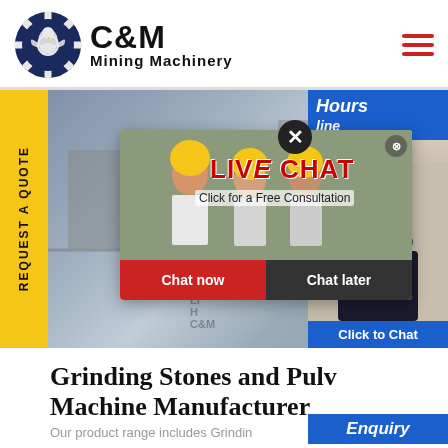[Figure (logo): C&M Mining Machinery logo — circular gear/eagle emblem in navy blue, with bold C&M text and 'Mining Machinery' subtitle]
[Figure (photo): Screenshot of a mining machinery company website. Background shows factory/industrial equipment. A yellow 'REQUEST A QUOTE' sidebar is on the left. A live chat popup overlay shows workers in hard hats, 'LIVE CHAT — Click for a Free Consultation', with 'Chat now' (red) and 'Chat later' (dark) buttons. Right side shows a customer support agent. Bottom shows 'Click to Chat' and 'Enquiry' buttons in blue.]
Grinding Stones and Pulv Machine Manufacturer
Our product range includes Grindin